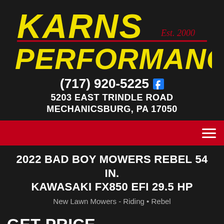[Figure (logo): Karns Performance logo with yellow bold italic text on dark background, red underline, and 'Est. 2000' in red script]
(717) 920-5225
5203 EAST TRINDLE ROAD
MECHANICSBURG, PA 17050
2022 BAD BOY MOWERS REBEL 54 IN. KAWASAKI FX850 EFI 29.5 HP
New Lawn Mowers - Riding • Rebel
GET PRICE
[Figure (photo): Partial image of a Bad Boy Mowers Rebel lawn mower, showing the top portion against a light background]